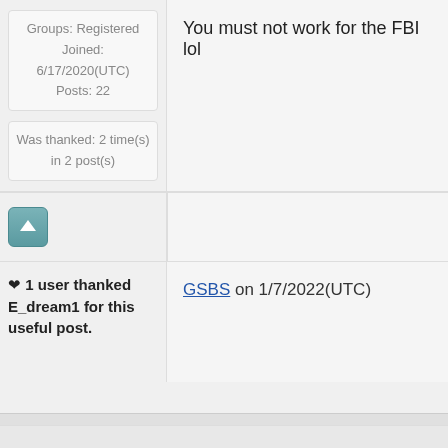Groups: Registered
Joined: 6/17/2020(UTC)
Posts: 22
You must not work for the FBI lol
Was thanked: 2 time(s) in 2 post(s)
❤ 1 user thanked E_dream1 for this useful post.
GSBS on 1/7/2022(UTC)